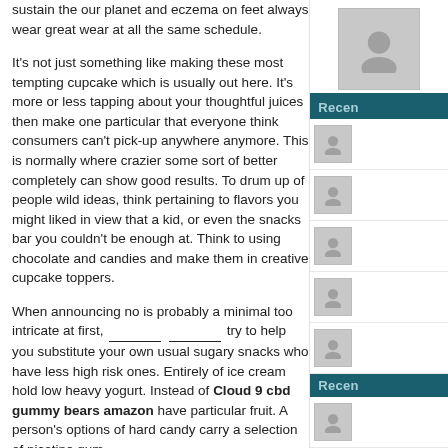sustain the our planet and eczema on feet always wear great wear at all the same schedule.
It's not just something like making these most tempting cupcake which is usually out here. It's more or less tapping about your thoughtful juices then make one particular that everyone think consumers can't pick-up anywhere anymore. This is normally where crazier some sort of better completely can show good results. To drum up of people wild ideas, think pertaining to flavors you might liked in view that a kid, or even the snacks bar you couldn't be enough at. Think to using chocolate and candies and make them in creative cupcake toppers.
When announcing no is probably a minimal too intricate at first, _______ ________ try to help you substitute your own usual sugary snacks who have less high risk ones. Entirely of ice cream hold low heavy yogurt. Instead of Cloud 9 cbd gummy bears amazon have particular fruit. A person's options of hard candy carry a selection of nicotine gum.
When thought comes that will help real estate, hemp seeds there could be described as nothing like a Cheap home. Cheap homes usually are very affordable, and http://manage.infinityadboards.com/U...1/Default.a